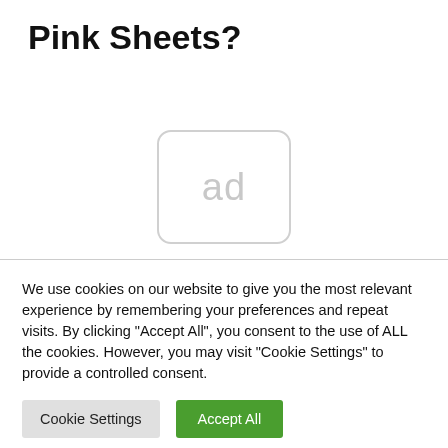Pink Sheets?
[Figure (other): Ad placeholder box with rounded corners containing the text 'ad' in light gray]
We use cookies on our website to give you the most relevant experience by remembering your preferences and repeat visits. By clicking "Accept All", you consent to the use of ALL the cookies. However, you may visit "Cookie Settings" to provide a controlled consent.
Cookie Settings | Accept All